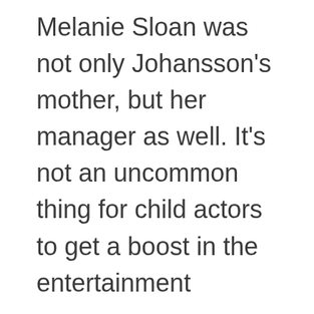Melanie Sloan was not only Johansson's mother, but her manager as well. It's not an uncommon thing for child actors to get a boost in the entertainment